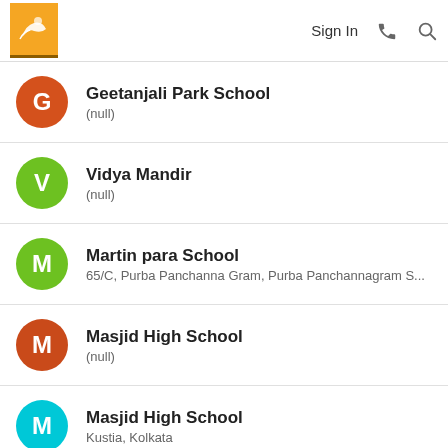Sign In
Geetanjali Park School
(null)
Vidya Mandir
(null)
Martin para School
65/C, Purba Panchanna Gram, Purba Panchannagram S...
Masjid High School
(null)
Masjid High School
Kustia, Kolkata
Lake View High School